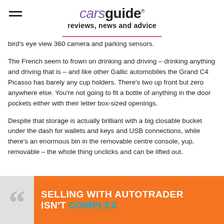carsguide reviews, news and advice
bird's eye view 360 camera and parking sensors.
The French seem to frown on drinking and driving – drinking anything and driving that is – and like other Gallic automobiles the Grand C4 Picasso has barely any cup holders. There's two up front but zero anywhere else. You're not going to fit a bottle of anything in the door pockets either with their letter box-sized openings.
Despite that storage is actually brilliant with a big closable bucket under the dash for wallets and keys and USB connections, while there's an enormous bin in the removable centre console, yup, removable – the whole thing unclicks and can be lifted out.
[Figure (other): Advertisement banner: quotation mark graphic on grey background and orange banner reading SELLING WITH AUTOTRADER ISN'T COMPLEX]